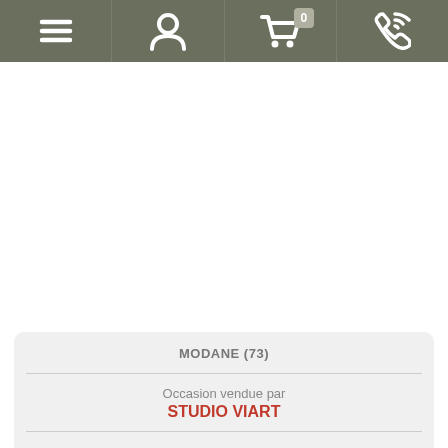[Figure (screenshot): Mobile e-commerce navigation bar with hamburger menu, user account icon, shopping cart with badge showing 0, and phone/contact icon on olive/dark gray background]
MODANE (73)
Occasion vendue par
STUDIO VIART
180.00 €
AJOUTER